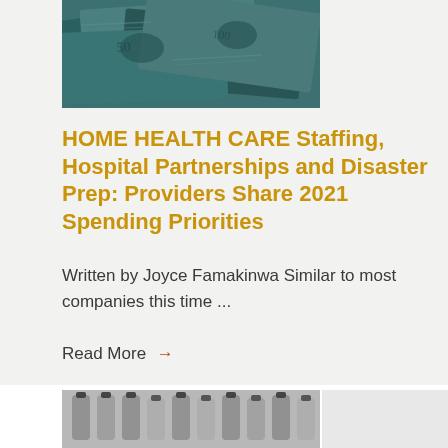[Figure (photo): Photo of US dollar bills with teal/green color overlay, partially cropped at top]
HOME HEALTH CARE Staffing, Hospital Partnerships and Disaster Prep: Providers Share 2021 Spending Priorities
Written by Joyce Famakinwa Similar to most companies this time ...
Read More →
[Figure (photo): Photo of medical vials/vaccine bottles in black and white, partially cropped at bottom of page]